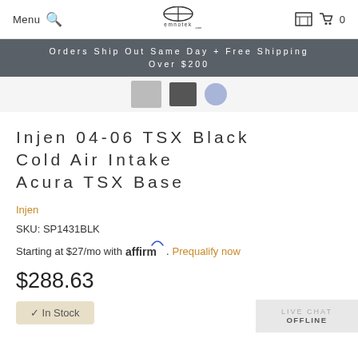Menu | Search | EMNOTEK | Cart 0
Orders Ship Out Same Day + Free Shipping Over $200
[Figure (photo): Partial product image thumbnails at top of page]
Injen 04-06 TSX Black Cold Air Intake Acura TSX Base
Injen
SKU: SP1431BLK
Starting at $27/mo with affirm. Prequalify now
$288.63
✓ In Stock